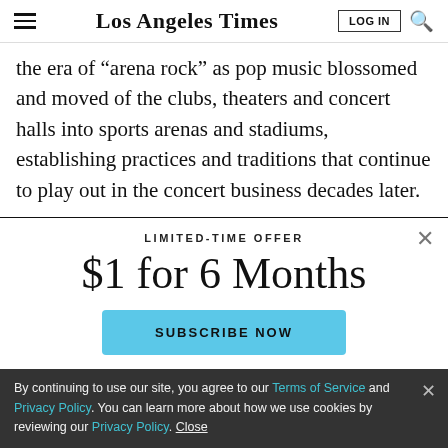Los Angeles Times
the era of "arena rock" as pop music blossomed and moved of the clubs, theaters and concert halls into sports arenas and stadiums, establishing practices and traditions that continue to play out in the concert business decades later.
LIMITED-TIME OFFER
$1 for 6 Months
SUBSCRIBE NOW
By continuing to use our site, you agree to our Terms of Service and Privacy Policy. You can learn more about how we use cookies by reviewing our Privacy Policy. Close